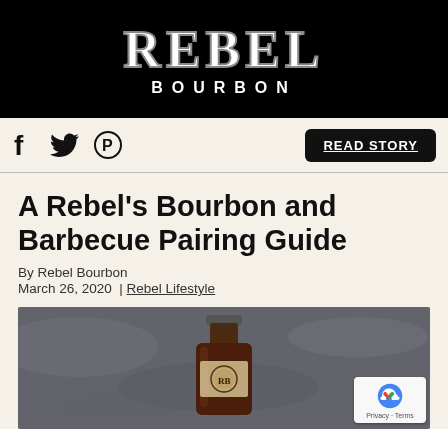REBEL BOURBON
f  (twitter)  (pinterest)  READ STORY
A Rebel’s Bourbon and Barbecue Pairing Guide
By Rebel Bourbon
March 26, 2020  | Rebel Lifestyle
[Figure (photo): Photo of a Rebel Bourbon bottle on a dark stone/slate background, with a reCAPTCHA Privacy-Terms badge overlay in bottom right corner.]